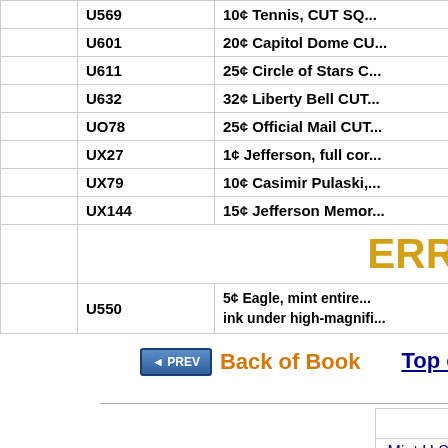|  | Code | Description |
| --- | --- | --- |
|  | U569 | 10¢ Tennis, CUT SQ... |
|  | U601 | 20¢ Capitol Dome CU... |
|  | U611 | 25¢ Circle of Stars C... |
|  | U632 | 32¢ Liberty Bell CUT... |
|  | UO78 | 25¢ Official Mail CUT... |
|  | UX27 | 1¢ Jefferson, full cor... |
|  | UX79 | 10¢ Casimir Pulaski,... |
|  | UX144 | 15¢ Jefferson Memor... |
|  |  | ERR... |
|  | U550 | 5¢ Eagle, mint entire...
ink under high-magnifi... |
Back of Book
Top of...
|  | Home Page... |
| --- | --- |
| Mint U.S. | Plate # |